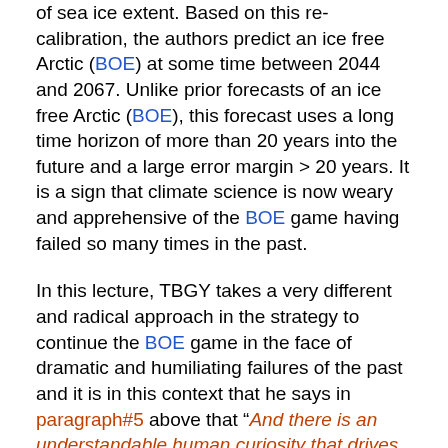of sea ice extent. Based on this re-calibration, the authors predict an ice free Arctic (BOE) at some time between 2044 and 2067. Unlike prior forecasts of an ice free Arctic (BOE), this forecast uses a long time horizon of more than 20 years into the future and a large error margin > 20 years. It is a sign that climate science is now weary and apprehensive of the BOE game having failed so many times in the past.
In this lecture, TBGY takes a very different and radical approach in the strategy to continue the BOE game in the face of dramatic and humiliating failures of the past and it is in this context that he says in paragraph#5 above that "And there is an understandable human curiosity that drives the climate science community to try to make predictions about when that zero mark might actually be reached. At one extreme end of this prediction scale 2017